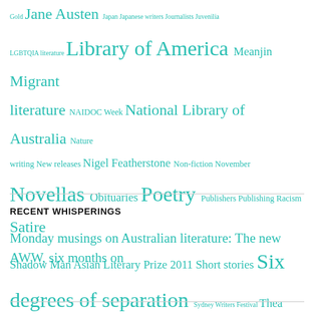Gold Jane Austen Japan Japanese writers Journalists Juvenilia LGBTQIA literature Library of America Meanjin Migrant literature NAIDOC Week National Library of Australia Nature writing New releases Nigel Featherstone Non-fiction November Novellas Obituaries Poetry Publishers Publishing Racism Satire Shadow Man Asian Literary Prize 2011 Short stories Six degrees of separation Sydney Writers Festival Thea Astley Tournament of Books Translated works Travel writing War literature World War 2
RECENT WHISPERINGS
Monday musings on Australian literature: The new AWW, six months on